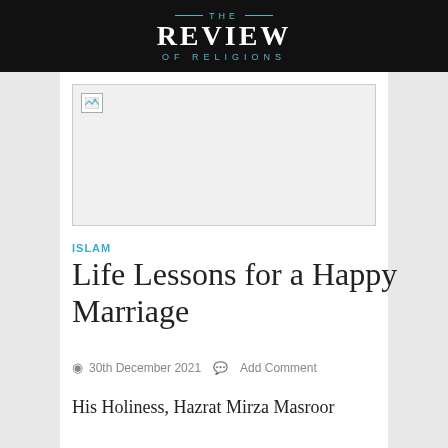THE REVIEW OF RELIGIONS
[Figure (photo): Broken/unloaded image placeholder with a small broken image icon in the top-left corner, light gray background]
ISLAM
Life Lessons for a Happy Marriage
30th December 2021   Add Comment
His Holiness, Hazrat Mirza Masroor